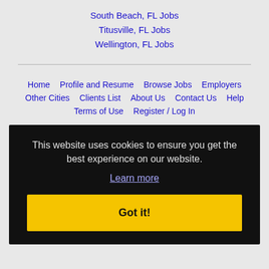South Beach, FL Jobs
Titusville, FL Jobs
Wellington, FL Jobs
Home | Profile and Resume | Browse Jobs | Employers | Other Cities | Clients List | About Us | Contact Us | Help | Terms of Use | Register / Log In
This website uses cookies to ensure you get the best experience on our website. Learn more Got it!